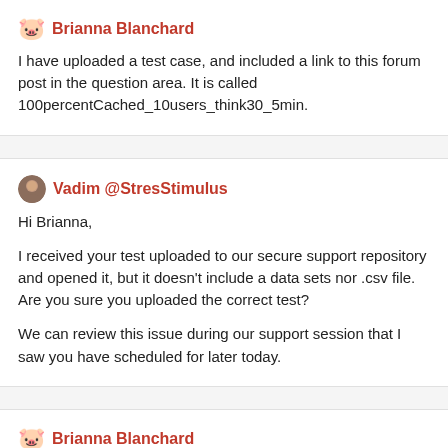🐷 Brianna Blanchard
I have uploaded a test case, and included a link to this forum post in the question area. It is called 100percentCached_10users_think30_5min.
Vadim @StresStimulus
Hi Brianna,

I received your test uploaded to our secure support repository and opened it, but it doesn't include a data sets nor .csv file. Are you sure you uploaded the correct test?

We can review this issue during our support session that I saw you have scheduled for later today.
🐷 Brianna Blanchard
Yes, I am sure: it makes sense that you don't see the .csv